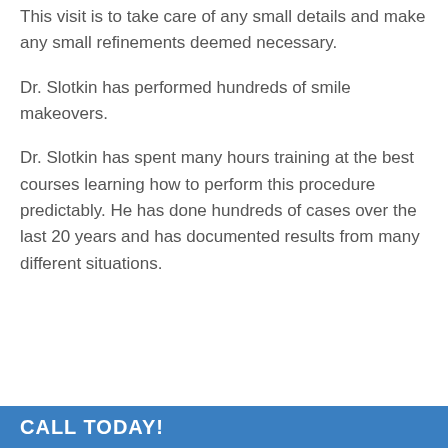This visit is to take care of any small details and make any small refinements deemed necessary.
Dr. Slotkin has performed hundreds of smile makeovers.
Dr. Slotkin has spent many hours training at the best courses learning how to perform this procedure predictably. He has done hundreds of cases over the last 20 years and has documented results from many different situations.
CALL TODAY!